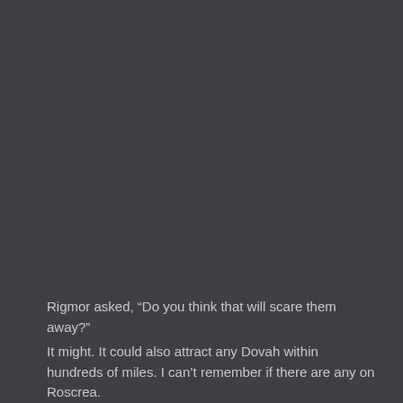Rigmor asked, “Do you think that will scare them away?”
It might. It could also attract any Dovah within hundreds of miles. I can’t remember if there are any on Roscrea.